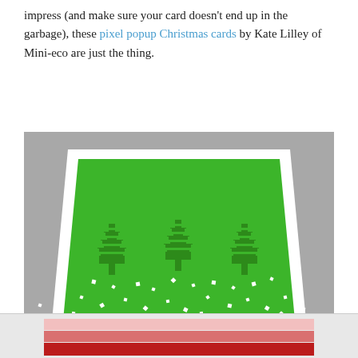impress (and make sure your card doesn't end up in the garbage), these pixel popup Christmas cards by Kate Lilley of Mini-eco are just the thing.
[Figure (photo): A pixel popup Christmas card showing three green pixelated Christmas trees popping up from a green background card, with white pixel snow dots scattered around. The card is open and photographed against a grey background.]
[Figure (photo): Partial view of another card or image showing light pink, pink, and red horizontal bars/stripes at the bottom of the page.]